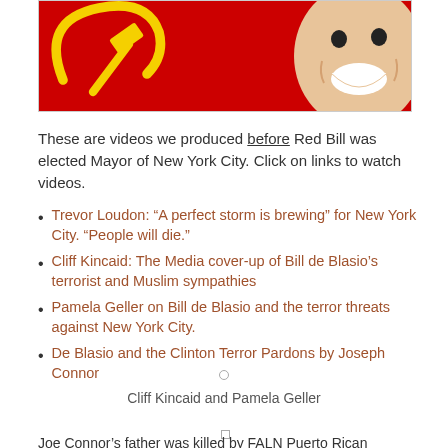[Figure (illustration): Red background image with yellow hammer and sickle symbol on the left, and a laughing face/person on the right, partially cropped at top of page]
These are videos we produced before Red Bill was elected Mayor of New York City. Click on links to watch videos.
Trevor Loudon: “A perfect storm is brewing” for New York City. “People will die.”
Cliff Kincaid: The Media cover-up of Bill de Blasio’s terrorist and Muslim sympathies
Pamela Geller on Bill de Blasio and the terror threats against New York City.
De Blasio and the Clinton Terror Pardons by Joseph Connor
Cliff Kincaid and Pamela Geller
Joe Connor’s father was killed by FALN Puerto Rican terrorists: